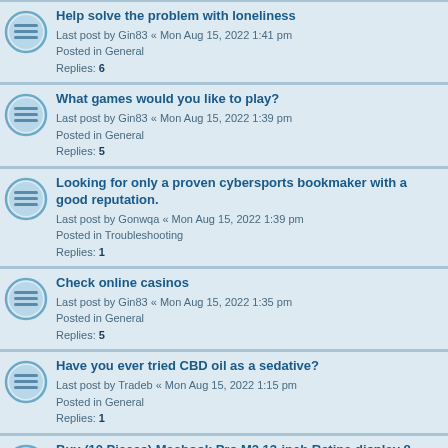Help solve the problem with loneliness
Last post by Gin83 « Mon Aug 15, 2022 1:41 pm
Posted in General
Replies: 6
What games would you like to play?
Last post by Gin83 « Mon Aug 15, 2022 1:39 pm
Posted in General
Replies: 5
Looking for only a proven cybersports bookmaker with a good reputation.
Last post by Gonwqa « Mon Aug 15, 2022 1:39 pm
Posted in Troubleshooting
Replies: 1
Check online casinos
Last post by Gin83 « Mon Aug 15, 2022 1:35 pm
Posted in General
Replies: 5
Have you ever tried CBD oil as a sedative?
Last post by Tradeb « Mon Aug 15, 2022 1:15 pm
Posted in General
Replies: 1
Buy (10 Pieces) Macbook Pro M2 13-inch Retina display 8-Core CPU 10-Core GPU 8GB 16-core 512GB SSD $13,990
Last post by emailychang01 « Mon Aug 15, 2022 1:01 pm
Posted in Modpacks
Business in 2022
Last post by Kumali « Mon Aug 15, 2022 12:56 pm
Posted in General
Replies: 4